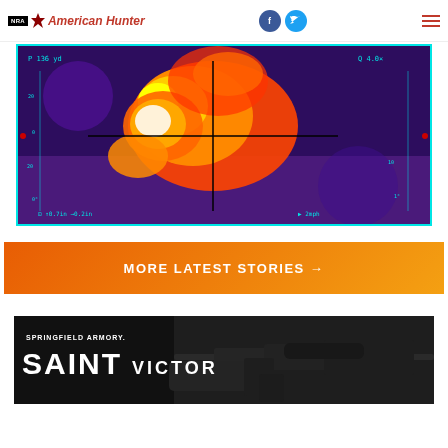NRA American Hunter
[Figure (photo): Thermal scope view of a deer/hog with crosshairs overlay, showing thermal imaging display with range 136 yd, zoom 4.0x, and wind/drop data]
MORE LATEST STORIES →
[Figure (photo): Springfield Armory SAINT Victor advertisement banner showing rifle against dark background]